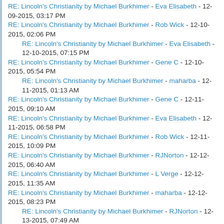RE: Lincoln's Christianity by Michael Burkhimer - Eva Elisabeth - 12-09-2015, 03:17 PM
RE: Lincoln's Christianity by Michael Burkhimer - Rob Wick - 12-10-2015, 02:06 PM
RE: Lincoln's Christianity by Michael Burkhimer - Eva Elisabeth - 12-10-2015, 07:15 PM
RE: Lincoln's Christianity by Michael Burkhimer - Gene C - 12-10-2015, 05:54 PM
RE: Lincoln's Christianity by Michael Burkhimer - maharba - 12-11-2015, 01:13 AM
RE: Lincoln's Christianity by Michael Burkhimer - Gene C - 12-11-2015, 09:10 AM
RE: Lincoln's Christianity by Michael Burkhimer - Eva Elisabeth - 12-11-2015, 06:58 PM
RE: Lincoln's Christianity by Michael Burkhimer - Rob Wick - 12-11-2015, 10:09 PM
RE: Lincoln's Christianity by Michael Burkhimer - RJNorton - 12-12-2015, 06:40 AM
RE: Lincoln's Christianity by Michael Burkhimer - L Verge - 12-12-2015, 11:35 AM
RE: Lincoln's Christianity by Michael Burkhimer - maharba - 12-12-2015, 08:23 PM
RE: Lincoln's Christianity by Michael Burkhimer - RJNorton - 12-13-2015, 07:49 AM
RE: Lincoln's Christianity by Michael Burkhimer - Eva Elisabeth - 12-12-2015, 08:46 PM
RE: Lincoln's Christianity by Michael Burkhimer - L Verge - 12-13-